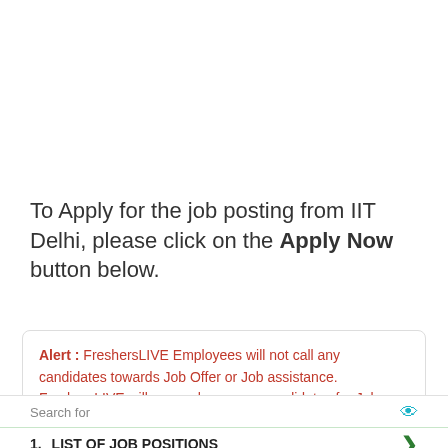To Apply for the job posting from IIT Delhi, please click on the Apply Now button below.
Alert : FreshersLIVE Employees will not call any candidates towards Job Offer or Job assistance. FreshersLIVE will never charge any candidates for Jobs. Please be aware of
1. LIST OF JOB POSITIONS
2. SALES SPECIALIST JOBS
Ad | Business Focus